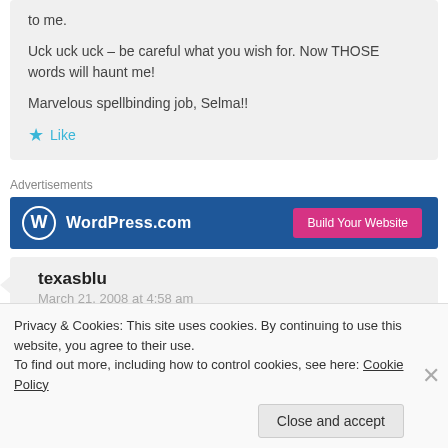to me.
Uck uck uck – be careful what you wish for. Now THOSE words will haunt me!
Marvelous spellbinding job, Selma!!
★ Like
Advertisements
[Figure (other): WordPress.com advertisement banner with blue background, WordPress logo on left, and pink 'Build Your Website' button on right]
texasblu
March 21, 2008 at 4:58 am
Privacy & Cookies: This site uses cookies. By continuing to use this website, you agree to their use.
To find out more, including how to control cookies, see here: Cookie Policy
Close and accept